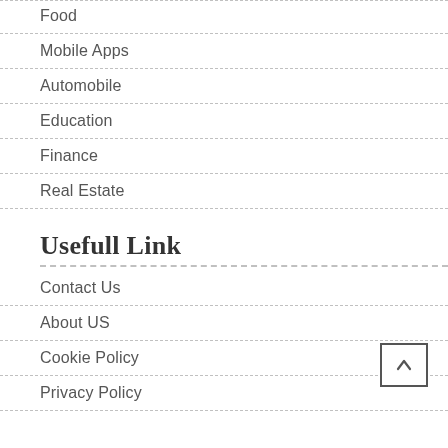Food
Mobile Apps
Automobile
Education
Finance
Real Estate
Usefull Link
Contact Us
About US
Cookie Policy
Privacy Policy